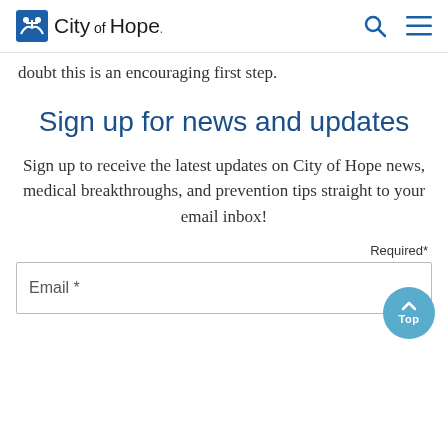City of Hope
doubt this is an encouraging first step.
Sign up for news and updates
Sign up to receive the latest updates on City of Hope news, medical breakthroughs, and prevention tips straight to your email inbox!
Required*
Email *